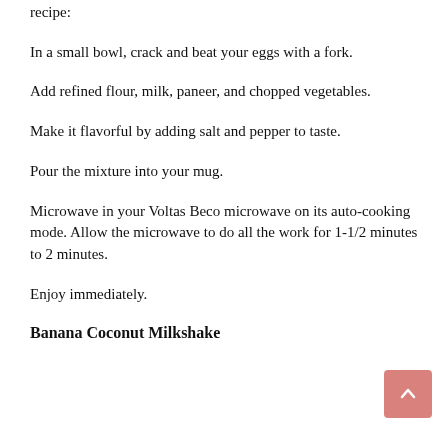salt and pepper
recipe:
In a small bowl, crack and beat your eggs with a fork.
Add refined flour, milk, paneer, and chopped vegetables.
Make it flavorful by adding salt and pepper to taste.
Pour the mixture into your mug.
Microwave in your Voltas Beco microwave on its auto-cooking mode. Allow the microwave to do all the work for 1-1/2 minutes to 2 minutes.
Enjoy immediately.
Banana Coconut Milkshake